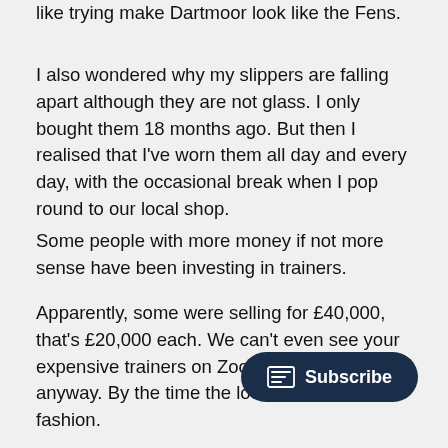like trying make Dartmoor look like the Fens.
I also wondered why my slippers are falling apart although they are not glass. I only bought them 18 months ago. But then I realised that I've worn them all day and every day, with the occasional break when I pop round to our local shop.
Some people with more money if not more sense have been investing in trainers.
Apparently, some were selling for £40,000, that's £20,000 each. We can't even see your expensive trainers on Zoom and you're not anyway. By the time the lockdo will be out of fashion.